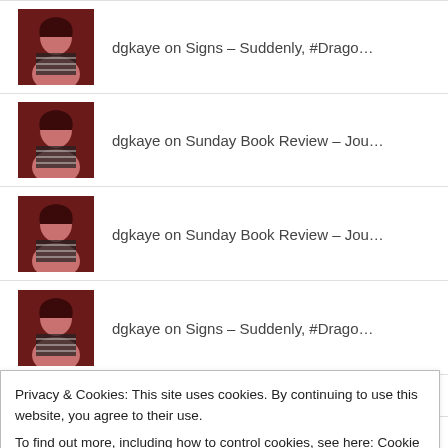dgkaye on Signs – Suddenly, #Drago…
dgkaye on Sunday Book Review – Jou…
dgkaye on Sunday Book Review – Jou…
dgkaye on Signs – Suddenly, #Drago…
dgkaye on Signs – Suddenly, #Drago…
Privacy & Cookies: This site uses cookies. By continuing to use this website, you agree to their use.
To find out more, including how to control cookies, see here: Cookie Policy
Close and accept